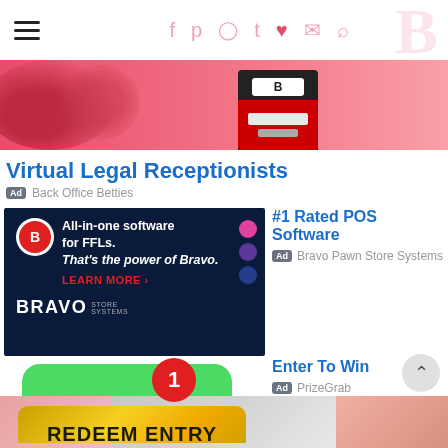Navigation bar with hamburger menu and social icons (Facebook, Pinterest, Instagram, Twitter, heart, mail, search)
[Figure (illustration): Pink/red banner with illustrated character wearing belt with 'B' logo]
Virtual Legal Receptionists
Ad  Back Office Betties
[Figure (screenshot): Bravo Store Systems ad: All-in-one software for FFLs. That's the power of Bravo. LEARN MORE]
#1 Rated POS Software
Ad  Bravo Pawn Store Systems
[Figure (screenshot): PrizeGrab ad: Green chat bubble with notification badge '1' and gold button saying REDEEM ENTRY]
Enter To Win
Ad  PrizeGrab